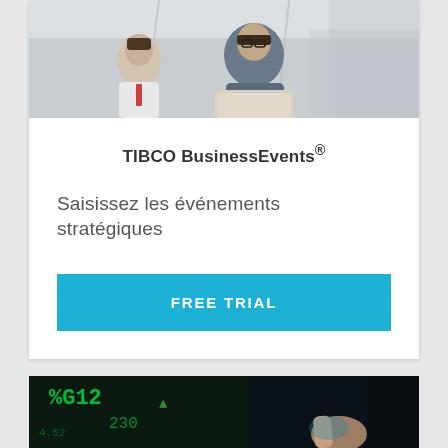[Figure (photo): Two men in an office/workplace setting, one wearing glasses looking at a laptop, another man in background wearing a white shirt]
TIBCO BusinessEvents®
Saisissez les événements stratégiques
FREE TRIAL
[Figure (photo): Close-up of a finger touching a glowing digital display with green financial data/stock ticker numbers]